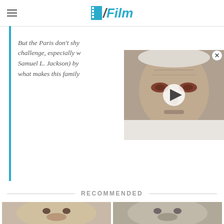/Film
But the Paris don't shy away from a challenge, especially w... Samuel L. Jackson) by... what makes this family...
[Figure (photo): Video thumbnail showing an elderly person lying in bed, with a play button overlay]
RECOMMENDED
[Figure (photo): Close-up headshot of a dark-haired man with a beard]
[Figure (photo): Close-up headshot of a grey-haired man smiling slightly]